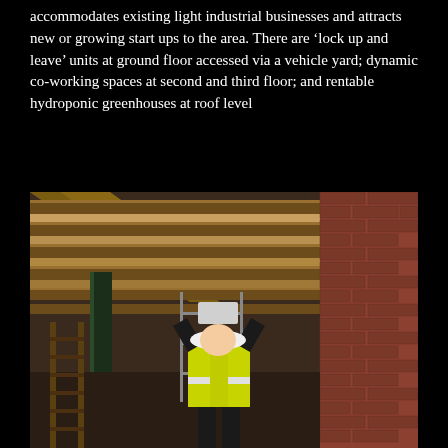accommodates existing light industrial businesses and attracts new or growing start ups to the area. There are 'lock up and leave' units at ground floor accessed via a vehicle yard; dynamic co-working spaces at second and third floor; and rentable hydroponic greenhouses at roof level
[Figure (photo): Construction interior photo showing a worker in a yellow hi-vis vest and white hard hat photographing or measuring something on the wall. The space has exposed wooden ceiling beams, a red/brown brick wall on the right, and scaffolding visible in the background.]